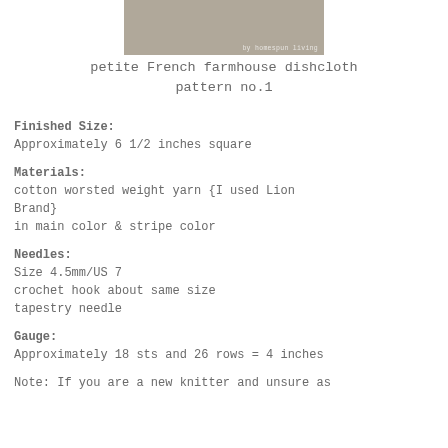[Figure (photo): Partial photo of a dishcloth or knitted item, with watermark 'by homespun living' visible at bottom right]
petite French farmhouse dishcloth pattern no.1
Finished Size:
Approximately 6 1/2 inches square
Materials:
cotton worsted weight yarn {I used Lion Brand}
in main color & stripe color
Needles:
Size 4.5mm/US 7
crochet hook about same size
tapestry needle
Gauge:
Approximately 18 sts and 26 rows = 4 inches
Note:  If you are a new knitter and unsure as